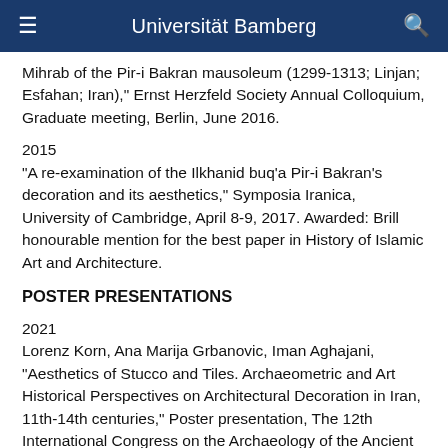Universität Bamberg
Mihrab of the Pir-i Bakran mausoleum (1299-1313; Linjan; Esfahan; Iran)," Ernst Herzfeld Society Annual Colloquium, Graduate meeting, Berlin, June 2016.
2015
"A re-examination of the Ilkhanid buq'a Pir-i Bakran's decoration and its aesthetics," Symposia Iranica, University of Cambridge, April 8-9, 2017. Awarded: Brill honourable mention for the best paper in History of Islamic Art and Architecture.
POSTER PRESENTATIONS
2021
Lorenz Korn, Ana Marija Grbanovic, Iman Aghajani, "Aesthetics of Stucco and Tiles. Archaeometric and Art Historical Perspectives on Architectural Decoration in Iran, 11th-14th centuries," Poster presentation, The 12th International Congress on the Archaeology of the Ancient Near East - ICAANE, University of Bologna,